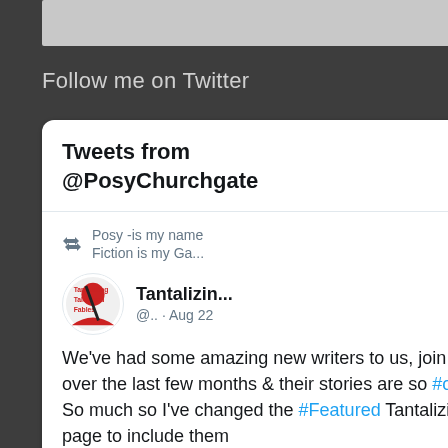[Figure (screenshot): Gray bar at top of page, partial UI element]
Follow me on Twitter
[Figure (screenshot): Twitter widget card showing tweets from @PosyChurchgate. Contains a retweet from 'Posy -is my name Fiction is my Ga...' and a tweet from 'Tantalizin...' @.. · Aug 22 with text: We've had some amazing new writers to us, join Ttales over the last few months & their stories are so #onbrand So much so I've changed the #Featured Tantalizing Tales page to include them]